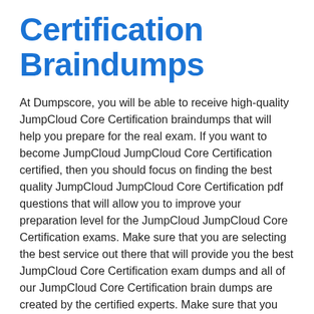Certification Braindumps
At Dumpscore, you will be able to receive high-quality JumpCloud Core Certification braindumps that will help you prepare for the real exam. If you want to become JumpCloud JumpCloud Core Certification certified, then you should focus on finding the best quality JumpCloud JumpCloud Core Certification pdf questions that will allow you to improve your preparation level for the JumpCloud JumpCloud Core Certification exams. Make sure that you are selecting the best service out there that will provide you the best JumpCloud Core Certification exam dumps and all of our JumpCloud Core Certification brain dumps are created by the certified experts. Make sure that you are focusing on the things that will allow you to get the desired outcome. By getting certified today, you will be able to increase your chances of landing a high paying job. It is the perfect way to proceed so you can handle things in